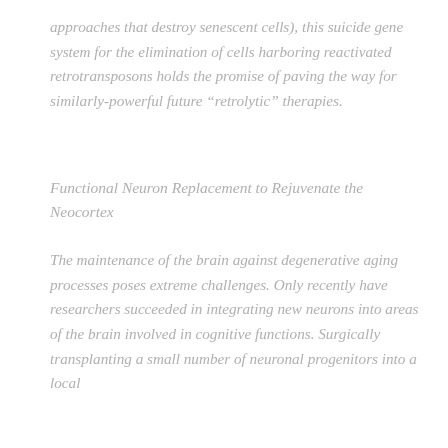approaches that destroy senescent cells), this suicide gene system for the elimination of cells harboring reactivated retrotransposons holds the promise of paving the way for similarly-powerful future “retrolytic” therapies.
Functional Neuron Replacement to Rejuvenate the Neocortex
The maintenance of the brain against degenerative aging processes poses extreme challenges. Only recently have researchers succeeded in integrating new neurons into areas of the brain involved in cognitive functions. Surgically transplanting a small number of neuronal progenitors into a local